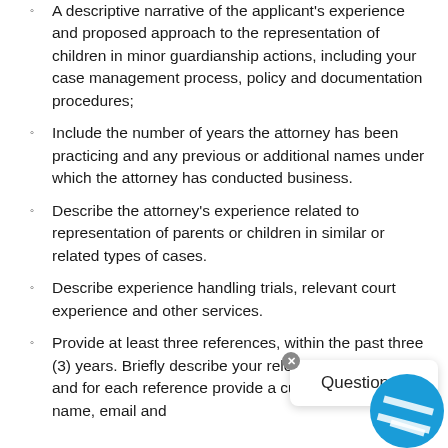A descriptive narrative of the applicant's experience and proposed approach to the representation of children in minor guardianship actions, including your case management process, policy and documentation procedures;
Include the number of years the attorney has been practicing and any previous or additional names under which the attorney has conducted business.
Describe the attorney's experience related to representation of parents or children in similar or related types of cases.
Describe experience handling trials, relevant court experience and other services.
Provide at least three references, within the past three (3) years. Briefly describe your relevant experience, and for each reference provide a current contact name, email and phone number.